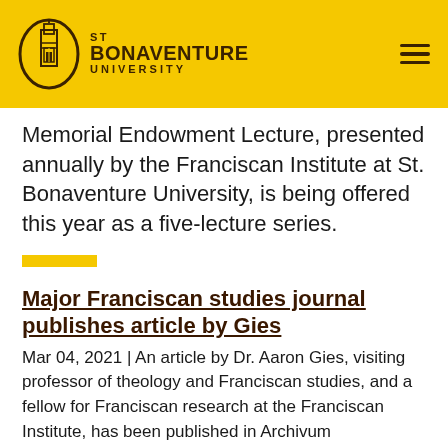St Bonaventure University
Memorial Endowment Lecture, presented annually by the Franciscan Institute at St. Bonaventure University, is being offered this year as a five-lecture series.
Major Franciscan studies journal publishes article by Gies
Mar 04, 2021 | An article by Dr. Aaron Gies, visiting professor of theology and Franciscan studies, and a fellow for Franciscan research at the Franciscan Institute, has been published in Archivum Franciscanum Historicum, a peer-reviewed major resource